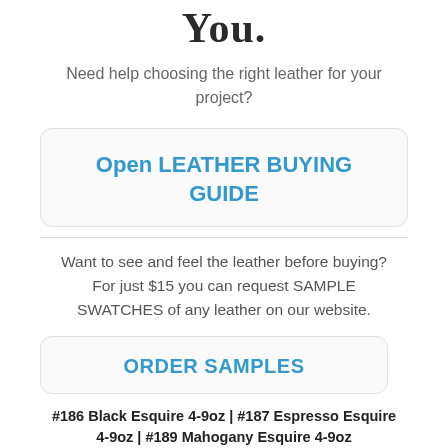You.
Need help choosing the right leather for your project?
Open LEATHER BUYING GUIDE
Want to see and feel the leather before buying? For just $15 you can request SAMPLE SWATCHES of any leather on our website.
ORDER SAMPLES
#186 Black Esquire 4-9oz | #187 Espresso Esquire 4-9oz | #189 Mahogany Esquire 4-9oz